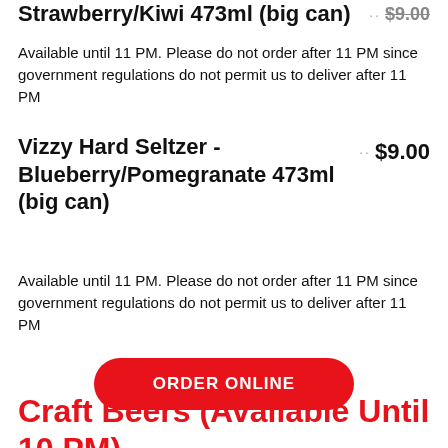Strawberry/Kiwi 473ml (big can)  $9.00
Available until 11 PM. Please do not order after 11 PM since government regulations do not permit us to deliver after 11 PM
Vizzy Hard Seltzer - Blueberry/Pomegranate 473ml (big can)  $9.00
Available until 11 PM. Please do not order after 11 PM since government regulations do not permit us to deliver after 11 PM
ORDER ONLINE
Craft Beers (Available Until 10 PM)